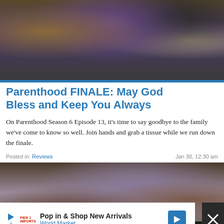[Figure (photo): Photo of people gathered around a dinner table, one person wearing a colorful floral outfit]
Parenthood FINALE: May God Bless and Keep You Always
On Parenthood Season 6 Episode 13, it's time to say goodbye to the family we've come to know so well. Join hands and grab a tissue while we run down the finale.
Posted in: Reviews    Jan 30, 12:30 am
[Figure (photo): Photo of two people, one with dark hair smiling, in a room with a decorative metal headboard]
Pop in & Shop New Arrivals World Market